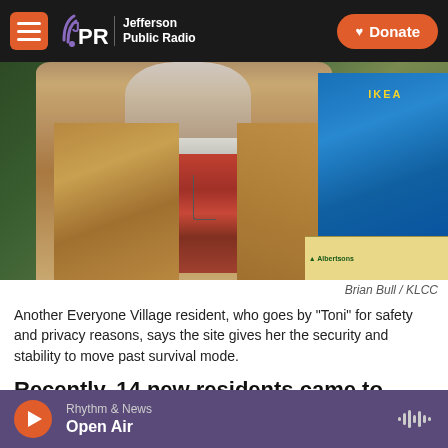JPR Jefferson Public Radio | Donate
[Figure (photo): A woman wearing a tan/brown jacket over a patterned red shirt, with a blue bag and Albertsons box visible in the background.]
Brian Bull / KLCC
Another Everyone Village resident, who goes by "Toni" for safety and privacy reasons, says the site gives her the security and stability to move past survival mode.
Recently, 14 new residents came to Everyone Village, after the city broke up a large homeless encampment in Washington-Jefferson Park in
Rhythm & News
Open Air